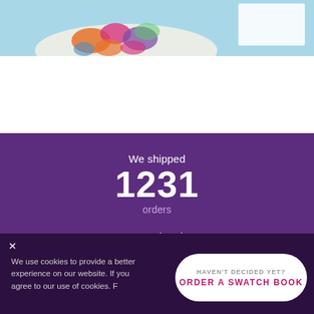[Figure (photo): Partial product photo showing colorful floral fabric/scarf on light blue background with white box in upper right corner]
We shipped
1231
orders
We printed
We use cookies to provide a better experience on our website. If you agree to our use of cookies. F...
HAVEN'T DECIDED YET? ORDER A SWATCH BOOK